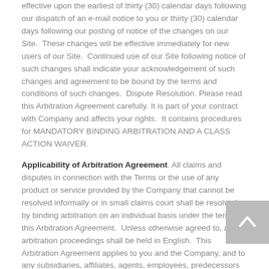effective upon the earliest of thirty (30) calendar days following our dispatch of an e-mail notice to you or thirty (30) calendar days following our posting of notice of the changes on our Site.  These changes will be effective immediately for new users of our Site.  Continued use of our Site following notice of such changes shall indicate your acknowledgement of such changes and agreement to be bound by the terms and conditions of such changes.  Dispute Resolution. Please read this Arbitration Agreement carefully. It is part of your contract with Company and affects your rights.  It contains procedures for MANDATORY BINDING ARBITRATION AND A CLASS ACTION WAIVER.
Applicability of Arbitration Agreement. All claims and disputes in connection with the Terms or the use of any product or service provided by the Company that cannot be resolved informally or in small claims court shall be resolved by binding arbitration on an individual basis under the terms of this Arbitration Agreement.  Unless otherwise agreed to, all arbitration proceedings shall be held in English.  This Arbitration Agreement applies to you and the Company, and to any subsidiaries, affiliates, agents, employees, predecessors in interest, successors, and assigns, as well as all authorized or unauthorized users or beneficiaries of services or goods provided under the Terms.